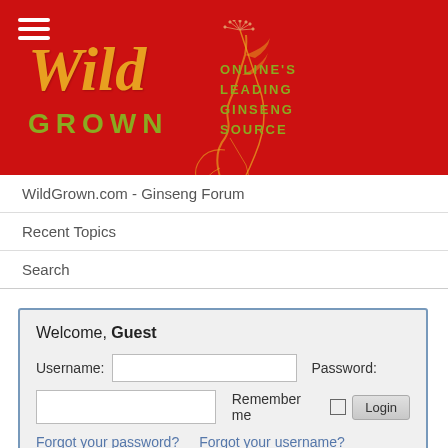[Figure (logo): WildGrown.com logo on red background with wild ginseng root illustration, text 'Wild GROWN' and tagline 'ONLINE'S LEADING GINSENG SOURCE']
WildGrown.com - Ginseng Forum
Recent Topics
Search
Welcome, Guest
Username: [input] Password: [input] Remember me [checkbox] [Login button] Forgot your password? Forgot your username?
Forum ▶ Ginseng Forums ▶ Hunting Wild Ginseng ▶ Take a Look
Follow Harvest Stewardship and always comply with your State